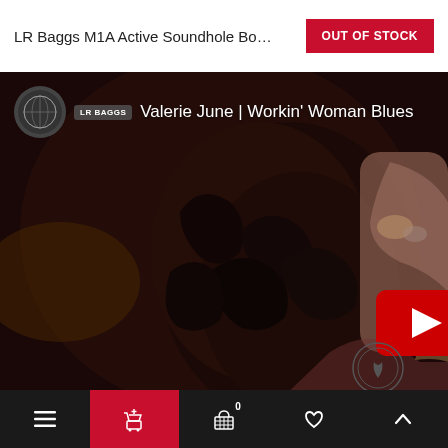LR Baggs MIA Active Soundhole Bod...
OUT OF STOCK
[Figure (screenshot): YouTube video thumbnail showing a woman with curly hair from behind, playing guitar. LR Baggs logo and title 'Valerie June | Workin' Woman Blues' overlaid at top left. YouTube play button visible at bottom right.]
Navigation bar with menu, cart, wishlist, and scroll-to-top icons